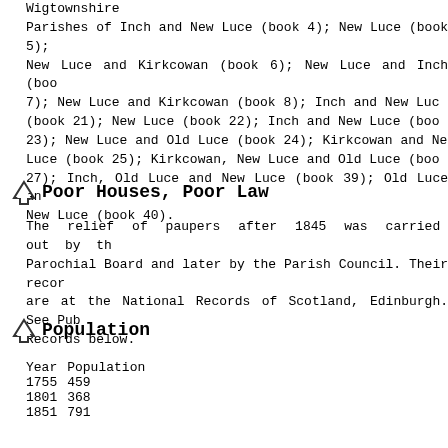Wigtownshire
Parishes of Inch and New Luce (book 4); New Luce (book 5); New Luce and Kirkcowan (book 6); New Luce and Inch (book 7); New Luce and Kirkcowan (book 8); Inch and New Luce (book 21); New Luce (book 22); Inch and New Luce (book 23); New Luce and Old Luce (book 24); Kirkcowan and New Luce (book 25); Kirkcowan, New Luce and Old Luce (book 27); Inch, Old Luce and New Luce (book 39); Old Luce and New Luce (book 40).
Poor Houses, Poor Law
The relief of paupers after 1845 was carried out by the Parochial Board and later by the Parish Council. Their records are at the National Records of Scotland, Edinburgh. See Public Records below.
Population
| Year | Population |
| --- | --- |
| 1755 | 459 |
| 1801 | 368 |
| 1851 | 791 |